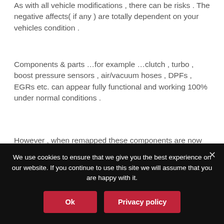As with all vehicle modifications , there can be risks . The negative affects( if any ) are totally dependent on your vehicles condition .
Components & parts …for example …clutch , turbo , boost pressure sensors , air/vacuum hoses , DPFs , EGRs etc. can appear fully functional and working 100% under normal conditions .
However , when remapped these components are now working at a higher rate therefore any wear currently present but not detected , can now become highlighted as the extra workrate in increased .
We have remapped many cars with over 250k miles on them without issues ………we also have remapped vehicles
We use cookies to ensure that we give you the best experience on our website. If you continue to use this site we will assume that you are happy with it.